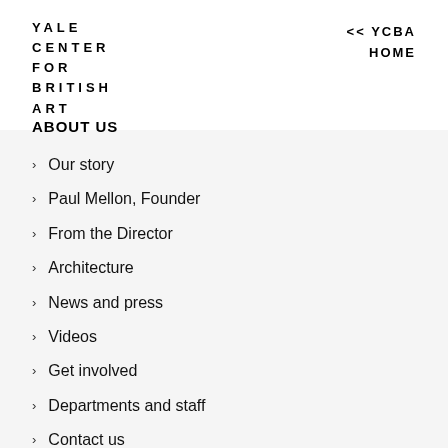YALE CENTER FOR BRITISH ART
<< YCBA HOME
ABOUT US
Our story
Paul Mellon, Founder
From the Director
Architecture
News and press
Videos
Get involved
Departments and staff
Contact us